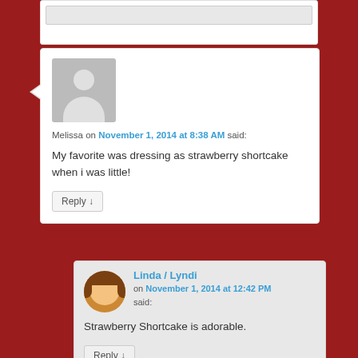[Figure (screenshot): Partial top of a previous comment block, showing a gray input/text area]
Melissa on November 1, 2014 at 8:38 AM said:
My favorite was dressing as strawberry shortcake when i was little!
Reply ↓
Linda / Lyndi on November 1, 2014 at 12:42 PM said:
Strawberry Shortcake is adorable.
Reply ↓